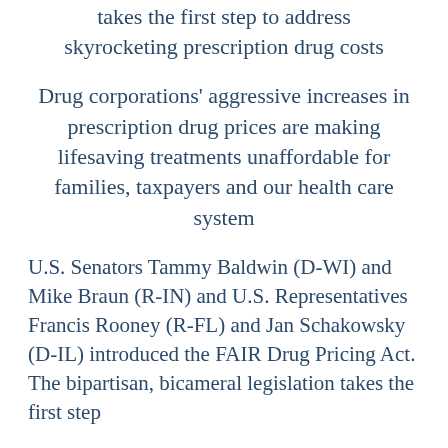takes the first step to address skyrocketing prescription drug costs
Drug corporations' aggressive increases in prescription drug prices are making lifesaving treatments unaffordable for families, taxpayers and our health care system
U.S. Senators Tammy Baldwin (D-WI) and Mike Braun (R-IN) and U.S. Representatives Francis Rooney (R-FL) and Jan Schakowsky (D-IL) introduced the FAIR Drug Pricing Act. The bipartisan, bicameral legislation takes the first step